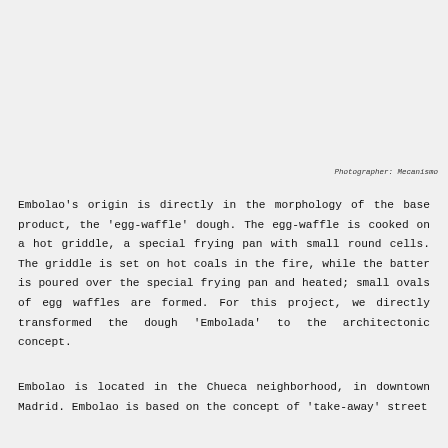Photographer: Mecanismo
Embolao's origin is directly in the morphology of the base product, the 'egg-waffle' dough. The egg-waffle is cooked on a hot griddle, a special frying pan with small round cells. The griddle is set on hot coals in the fire, while the batter is poured over the special frying pan and heated; small ovals of egg waffles are formed. For this project, we directly transformed the dough 'Embolada' to the architectonic concept.
Embolao is located in the Chueca neighborhood, in downtown Madrid. Embolao is based on the concept of 'take-away' street